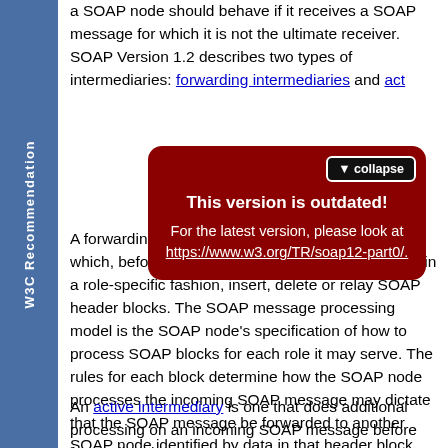W3C Recommendation
a SOAP node should behave if it receives a SOAP message for which it is not the ultimate receiver. SOAP Version 1.2 describes two types of intermediaries: forwarding intermediaries and active intermediaries.
[Figure (other): Red popup overlay with collapse button and outdated version warning. Title: 'This version is outdated!' Body: 'For the latest version, please look at https://www.w3.org/TR/soap12-part0/.']
A forwarding intermediary is a SOAP intermediary which, before forwarding the SOAP message, may, in a role-specific fashion, insert, delete or relay SOAP header blocks. The SOAP message processing model is the SOAP node's specification of how to process SOAP blocks for each role it may serve. The rules for each block determine how the SOAP node processes the incoming SOAP message may dictate that the SOAP message be forwarded to another SOAP node identified by data in that header block. The format of the SOAP header of the outbound SOAP message, i.e., the placement of inserted or reinserted header blocks, is determined by the overall processing at this forwarding intermediary based on the semantics of the processed header blocks.
An active intermediary is one that does additional processing on an incoming SOAP message before forwarding the message using criteria that are not